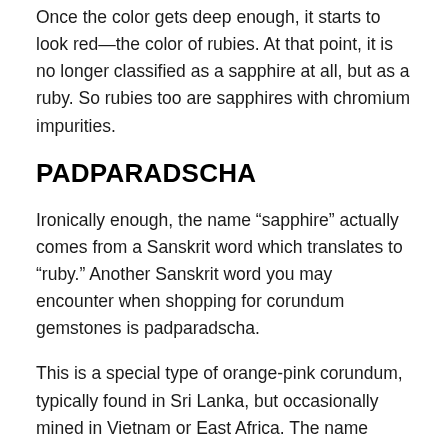Once the color gets deep enough, it starts to look red—the color of rubies. At that point, it is no longer classified as a sapphire at all, but as a ruby. So rubies too are sapphires with chromium impurities.
PADPARADSCHA
Ironically enough, the name “sapphire” actually comes from a Sanskrit word which translates to “ruby.” Another Sanskrit word you may encounter when shopping for corundum gemstones is padparadscha.
This is a special type of orange-pink corundum, typically found in Sri Lanka, but occasionally mined in Vietnam or East Africa. The name translates to “lotus color.”
Padparadscha is the rarest of all natural corundum colors. While it is not as famous as ruby or sapphire, it is quite precious and can fetch a very high price. Sometimes